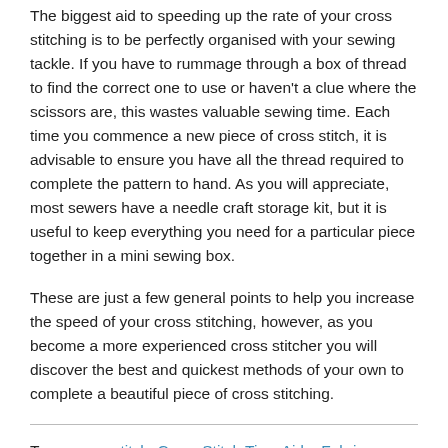The biggest aid to speeding up the rate of your cross stitching is to be perfectly organised with your sewing tackle. If you have to rummage through a box of thread to find the correct one to use or haven't a clue where the scissors are, this wastes valuable sewing time. Each time you commence a new piece of cross stitch, it is advisable to ensure you have all the thread required to complete the pattern to hand. As you will appreciate, most sewers have a needle craft storage kit, but it is useful to keep everything you need for a particular piece together in a mini sewing box.
These are just a few general points to help you increase the speed of your cross stitching, however, as you become a more experienced cross stitcher you will discover the best and quickest methods of your own to complete a beautiful piece of cross stitching.
Tags: cross stitch, Cross Stitch Tips, Aida, Fabric, Threads, Needles